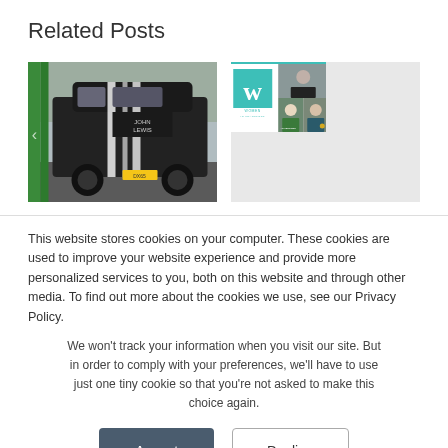Related Posts
[Figure (photo): Photo of a black John Lewis delivery van with white stripes, parked outdoors with trees in the background. A left navigation arrow is visible.]
[Figure (photo): Composite image showing the Women in Transport logo (teal W on white background) alongside photos of three women.]
This website stores cookies on your computer. These cookies are used to improve your website experience and provide more personalized services to you, both on this website and through other media. To find out more about the cookies we use, see our Privacy Policy.
We won't track your information when you visit our site. But in order to comply with your preferences, we'll have to use just one tiny cookie so that you're not asked to make this choice again.
Accept
Decline